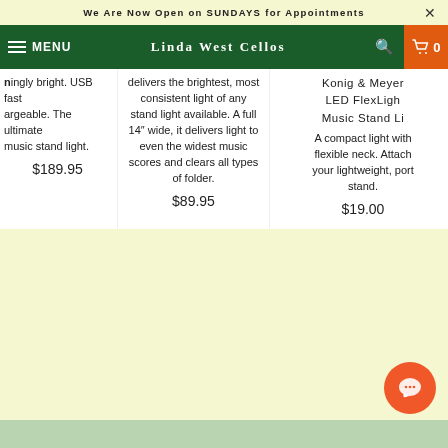We Are Now Open on SUNDAYS for Appointments
MENU  Linda West Cellos  0
ingly bright. USB fast argeable. The ultimate music stand light. $189.95
delivers the brightest, most consistent light of any stand light available. A full 14" wide, it delivers light to even the widest music scores and clears all types of folder. $89.95
Konig & Meyer LED FlexLigh Music Stand Li A compact light with flexible neck. Attach your lightweight, port stand. $19.00